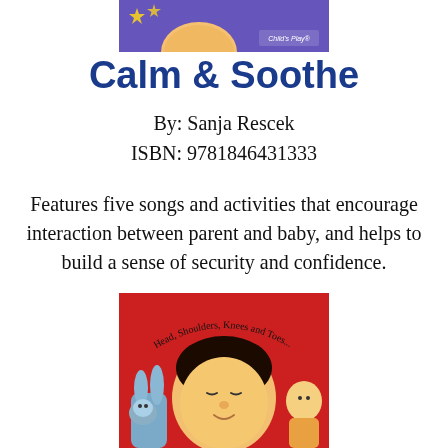[Figure (illustration): Top portion of a children's book cover with purple background and yellow stars, Child's Play logo]
Calm & Soothe
By: Sanja Rescek
ISBN: 9781846431333
Features five songs and activities that encourage interaction between parent and baby, and helps to build a sense of security and confidence.
[Figure (illustration): Bottom portion of a children's book cover with red background, text reading 'Head, Shoulders, Knees and Toes...' with a baby face and toy bunny]